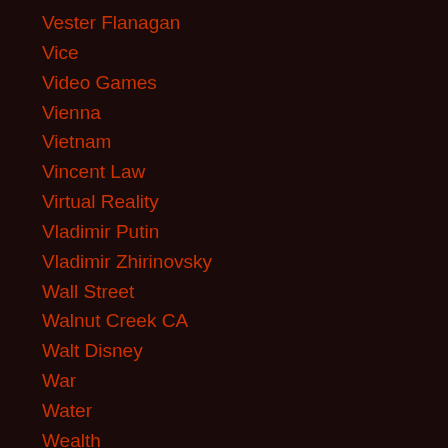Vester Flanagan
Vice
Video Games
Vienna
Vietnam
Vincent Law
Virtual Reality
Vladimir Putin
Vladimir Zhirinovsky
Wall Street
Walnut Creek CA
Walt Disney
War
Water
Wealth